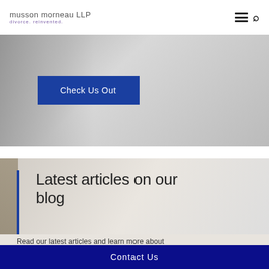musson morneau LLP divorce. reinvented.
[Figure (screenshot): Banner image with blurred books and pencil background; blue 'Check Us Out' button overlaid]
Latest articles on our blog
Read our latest articles and learn more about how we approach the way people divorce
Contact Us